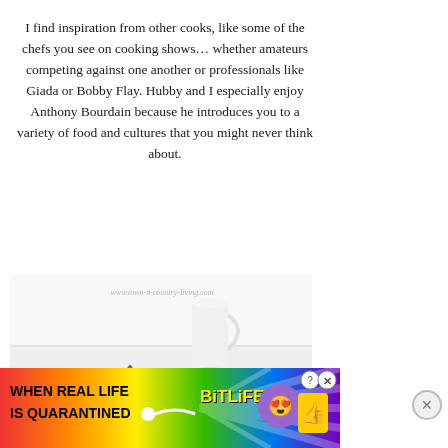I find inspiration from other cooks, like some of the chefs you see on cooking shows… whether amateurs competing against one another or professionals like Giada or Bobby Flay. Hubby and I especially enjoy Anthony Bourdain because he introduces you to a variety of food and cultures that you might never think about.
[Figure (photo): A bright, airy white kitchen scene with two yellow-orange tomatoes and a white pitcher in the background. Watermark reads www.town-n-country-living.com]
[Figure (photo): Advertisement banner for BitLife mobile game: colorful rainbow background with text 'WHEN REAL LIFE IS QUARANTINED' and 'BiTLiFE' logo with star-eyes emoji character]